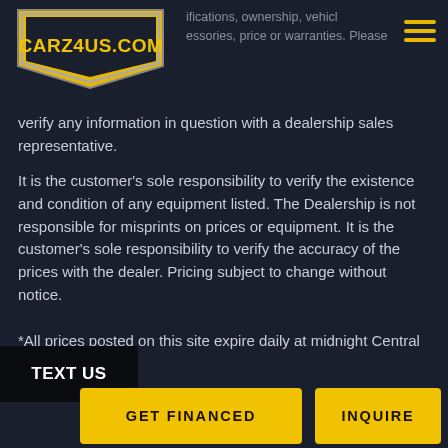CARZ4US.COM — ifications, ownership, vehicle accessories, price or warranties. Please
verify any information in question with a dealership sales representative.
It is the customer’s sole responsibility to verify the existence and condition of any equipment listed. The Dealership is not responsible for misprints on prices or equipment. It is the customer’s sole responsibility to verify the accuracy of the prices with the dealer. Pricing subject to change without notice.
*All prices posted on this site expire daily at midnight Central time.
TEXT US
GET FINANCED
INQUIRE